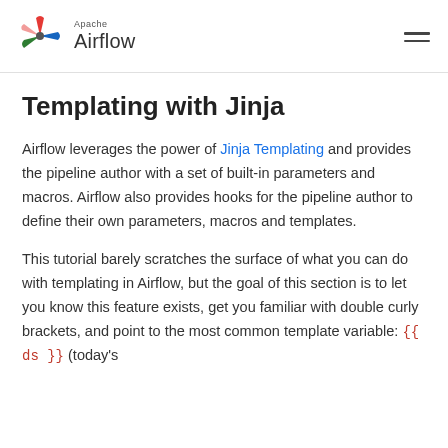Apache Airflow
Templating with Jinja
Airflow leverages the power of Jinja Templating and provides the pipeline author with a set of built-in parameters and macros. Airflow also provides hooks for the pipeline author to define their own parameters, macros and templates.
This tutorial barely scratches the surface of what you can do with templating in Airflow, but the goal of this section is to let you know this feature exists, get you familiar with double curly brackets, and point to the most common template variable: {{ ds }} (today's